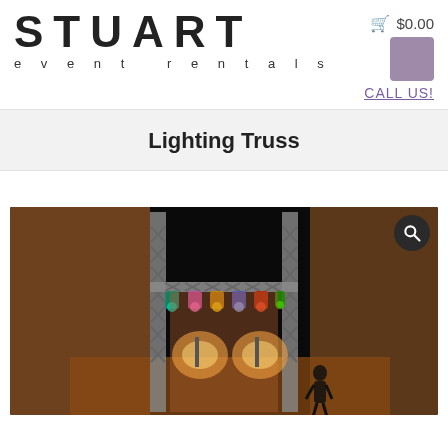[Figure (logo): Stuart Event Rentals logo with large STUART text and smaller 'event rentals' subtitle]
🛒 $0.00
CALL US!
Lighting Truss
[Figure (photo): Photo of a lighting truss setup on a stage with colorful stage lights mounted on a rectangular metal truss frame against a dark background, with glowing light projections on a backdrop]